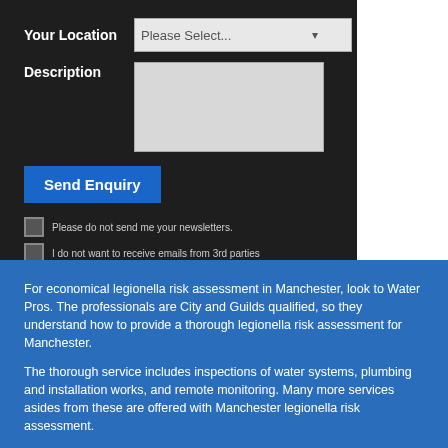Your Location
Please Select...
Description
Send Enquiry
Please do not send me your newsletters.
I do not want to receive emails from 3rd parties
For economical legionella risk assessment in Manchester, look to Water Pros. The professionals are City and Guilds qualified, so they understand how to provide a thorough legionella risk assessment for Manchester.
The thorough service includes inspections of water systems, plumbing and installation works, and remote monitoring. Many more services asides from these are offered with Manchester legionella risk assessment.